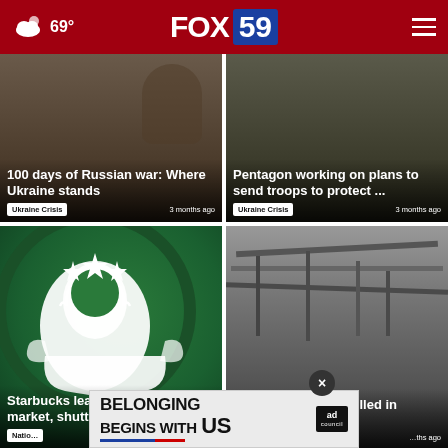FOX 59 | 69° weather
[Figure (screenshot): News card: 100 days of Russian war: Where Ukraine stands. Tag: Ukraine Crisis. Time: 3 months ago. Background shows a war scene.]
[Figure (screenshot): News card: Pentagon working on plans to send troops to protect ... Tag: Ukraine Crisis. Time: 3 months ago. Background shows military scene.]
[Figure (screenshot): News card: Starbucks leaving Russian market, shutting 130 sto... Tag: Natio... Background shows Starbucks logo.]
[Figure (screenshot): News card: Former US Marine killed in Ukraine, ... Time: ...ths ago. Background shows destroyed structure.]
[Figure (infographic): Ad banner: BELONGING BEGINS WITH US, with ad council badge and close button.]